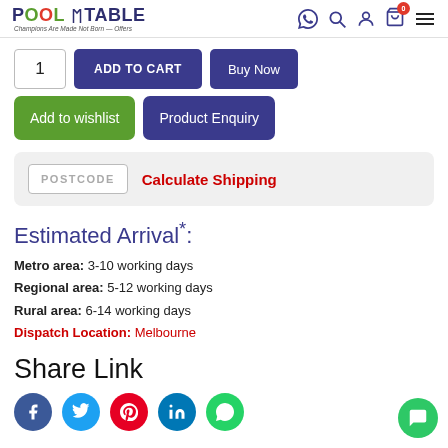Pool Table Offers — Navigation header with logo and icons
1  ADD TO CART  Buy Now
Add to wishlist  Product Enquiry
POSTCODE  Calculate Shipping
Estimated Arrival*:
Metro area: 3-10 working days
Regional area: 5-12 working days
Rural area: 6-14 working days
Dispatch Location: Melbourne
Share Link